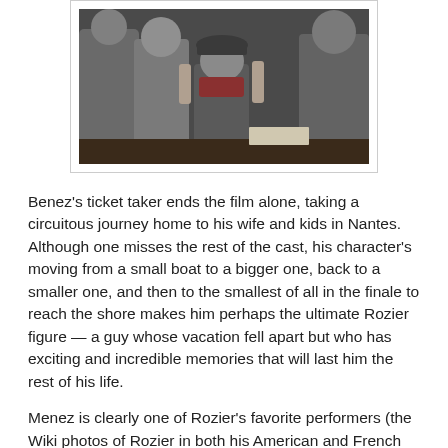[Figure (photo): A black and white photograph showing people in a scene, with a child wearing a cap and scarf raising their hand, other figures visible in the background.]
Benez's ticket taker ends the film alone, taking a circuitous journey home to his wife and kids in Nantes. Although one misses the rest of the cast, his character's moving from a small boat to a bigger one, back to a smaller one, and then to the smallest of all in the finale to reach the shore makes him perhaps the ultimate Rozier figure — a guy whose vacation fell apart but who has exciting and incredible memories that will last him the rest of his life.
Menez is clearly one of Rozier's favorite performers (the Wiki photos of Rozier in both his American and French Wiki bios come from an appearance the filmmaker made at a Menez book signing), but the performer that amused this viewer the most is Yves Alfonso, who had showy roles in Godard's Masculin-Feminin, Made in U.S.A., and Weekend. Alfonso's staccato, sounding way of speaking (which is